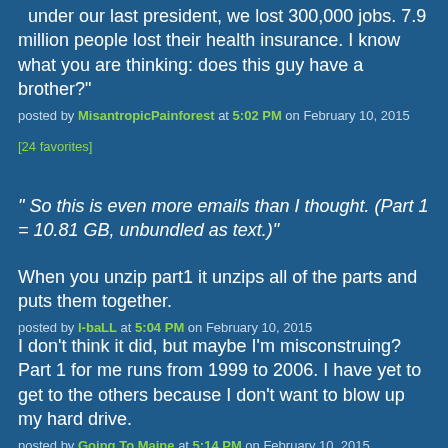under our last president, we lost 300,000 jobs. 7.9 million people lost their health insurance. I know what you are thinking: does this guy have a brother?"
posted by MisantropicPainforest at 5:02 PM on February 10, 2015 [24 favorites]
" So this is even more emails than I thought. (Part 1 = 10.81 GB, unbundled as text.)"
When you unzip part1 it unzips all of the parts and puts them together.
posted by I-baLL at 5:04 PM on February 10, 2015
I don't think it did, but maybe I'm misconstruing? Part 1 for me runs from 1999 to 2006. I have yet to get to the others because I don't want to blow up my hard drive.
posted by Going To Maine at 5:14 PM on February 10, 2015